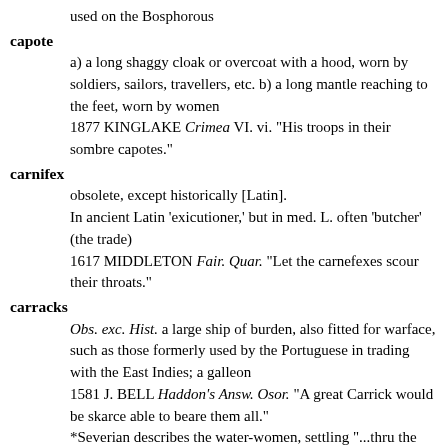used on the Bosphorous
capote
a) a long shaggy cloak or overcoat with a hood, worn by soldiers, sailors, travellers, etc. b) a long mantle reaching to the feet, worn by women
1877 KINGLAKE Crimea VI. vi. "His troops in their sombre capotes."
carnifex
obsolete, except historically [Latin].
In ancient Latin 'exicutioner,' but in med. L. often 'butcher' (the trade)
1617 MIDDLETON Fair. Quar. "Let the carnefexes scour their throats."
carracks
Obs. exc. Hist. a large ship of burden, also fitted for warface, such as those formerly used by the Portuguese in trading with the East Indies; a galleon
1581 J. BELL Haddon's Answ. Osor. "A great Carrick would be skarce able to beare them all."
*Severian describes the water-women, settling "...thru the water like carracks sinking."
casern
one of a series of small (temporary) buildings between the ramparts and houses of a fortified town for the accomodation of troops; also a barrack
*At the bridge, Severian is questioned in a casern, guarded